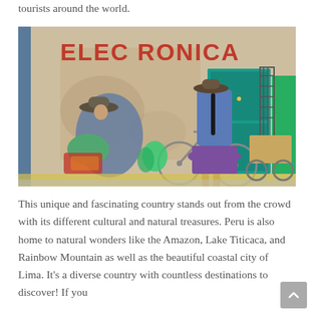tourists around the world.
[Figure (photo): Street scene in Peru showing two women in traditional clothing — one seated on the ground in a hat and blue cardigan beside colorful bags, another standing with a bicycle wearing a purple skirt, in front of a weathered wall with 'ELEC RONICA' painted in red letters and a turquoise door.]
This unique and fascinating country stands out from the crowd with its different cultural and natural treasures. Peru is also home to natural wonders like the Amazon, Lake Titicaca, and Rainbow Mountain as well as the beautiful coastal city of Lima. It's a diverse country with countless destinations to discover! If you